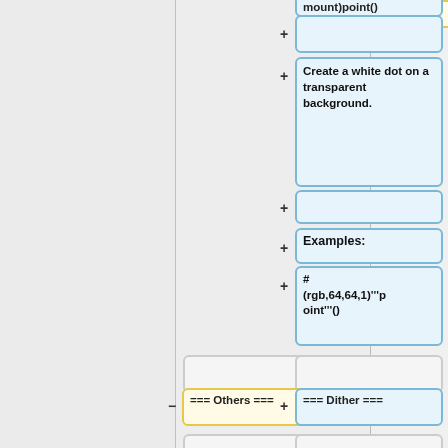[Figure (flowchart): A partial flowchart/diagram showing wiki-diff style nodes. Left side has a gray panel and vertical divider. Right side shows a vertical stack of node boxes connected by '+' and '-' symbols. Nodes include: a yellow top node (partially visible), blue empty node with '+', blue node with 'Create a white dot on a transparent background.' with '+', another blue empty node with '+', blue 'Examples:' node with '+', blue code node '#(rgb,64,64,1)"""point"""()' with '+', gray empty nodes, yellow '=== Others ===' node with '-', blue '=== Dither ===' node with '+', gray empty nodes, yellow 'Engine supports also simple' node, blue '#(format,width,height,minmono' node.]